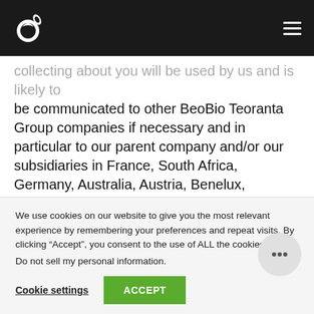BeoBio Teoranta — navigation header with logo and hamburger menu
collecting about you will be used by us and is likely to be communicated to other BeoBio Teoranta Group companies if necessary and in particular to our parent company and/or our subsidiaries in France, South Africa, Germany, Australia, Austria, Benelux, Canada, China, South Korea, Dubai, Spain, Kong, Ireland, Italy, Japan, Malaysia, Mexico, Portugal
We use cookies on our website to give you the most relevant experience by remembering your preferences and repeat visits. By clicking “Accept”, you consent to the use of ALL the cookies.
Do not sell my personal information.
Cookie settings   ACCEPT